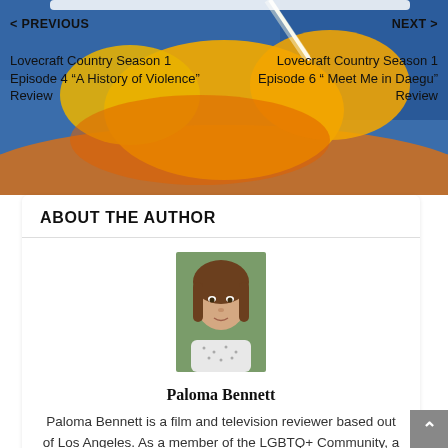[Figure (illustration): Abstract digital painting background with blue sky and yellow/orange cloud-like shapes with a bright white streak of light. Navigation overlay showing Previous and Next article links on top of the image.]
< PREVIOUS
Lovecraft Country Season 1 Episode 4 “A History of Violence” Review
NEXT >
Lovecraft Country Season 1 Episode 6 “ Meet Me in Daegu” Review
ABOUT THE AUTHOR
[Figure (photo): Headshot photo of Paloma Bennett, a woman with long brown hair wearing a white patterned shirt, photographed outdoors.]
Paloma Bennett
Paloma Bennett is a film and television reviewer based out of Los Angeles. As a member of the LGBTQ+ Community, a feminist, a voracious reader, and a super